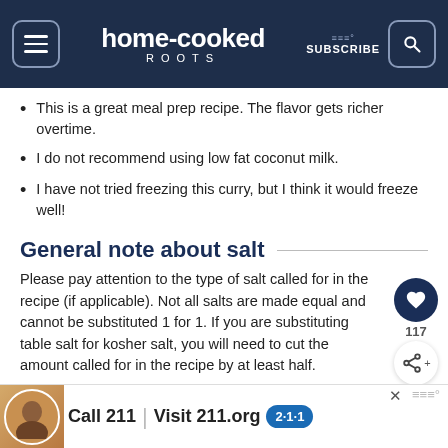home-cooked ROOTS
This is a great meal prep recipe. The flavor gets richer overtime.
I do not recommend using low fat coconut milk.
I have not tried freezing this curry, but I think it would freeze well!
General note about salt
Please pay attention to the type of salt called for in the recipe (if applicable). Not all salts are made equal and cannot be substituted 1 for 1. If you are substituting table salt for kosher salt, you will need to cut the amount called for in the recipe by at least half.
[Figure (other): Advertisement banner: Call 211 | Visit 211.org with 2-1-1 badge logo and photo of woman on phone]